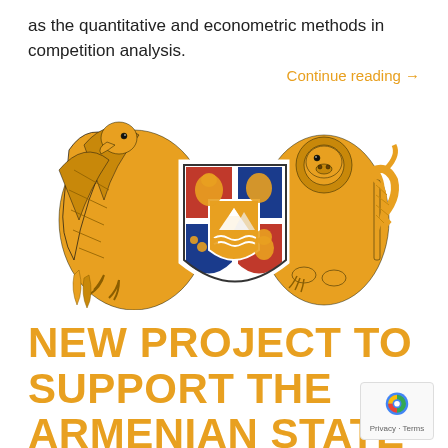as the quantitative and econometric methods in competition analysis.
Continue reading →
[Figure (illustration): Coat of arms of Armenia — golden eagle and lion supporters flanking a quartered shield with Mount Ararat in center, on white background]
NEW PROJECT TO SUPPORT THE ARMENIAN STATE